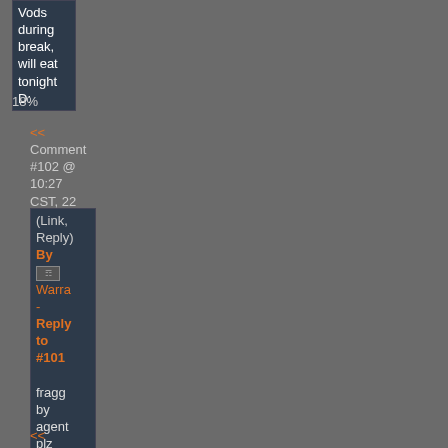Vods during break, will eat tonight D:
18%
<< Comment #102 @ 10:27 CST, 22 November 2012 >>
(Link, Reply)
By [icon] Warra - Reply to #101
fragged by agent plz
<< Comment